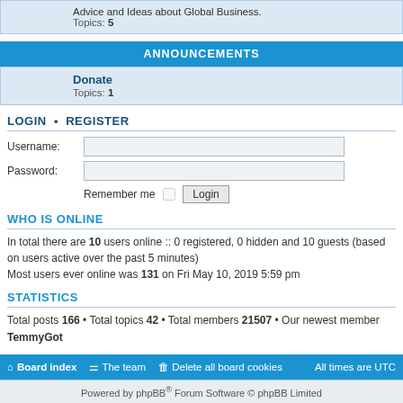Advice and Ideas about Global Business.
Topics: 5
ANNOUNCEMENTS
Donate
Topics: 1
LOGIN • REGISTER
Username:
Password:
Remember me  Login
WHO IS ONLINE
In total there are 10 users online :: 0 registered, 0 hidden and 10 guests (based on users active over the past 5 minutes)
Most users ever online was 131 on Fri May 10, 2019 5:59 pm
STATISTICS
Total posts 166 • Total topics 42 • Total members 21507 • Our newest member TemmyGot
Board index   The team   Delete all board cookies   All times are UTC
Powered by phpBB® Forum Software © phpBB Limited